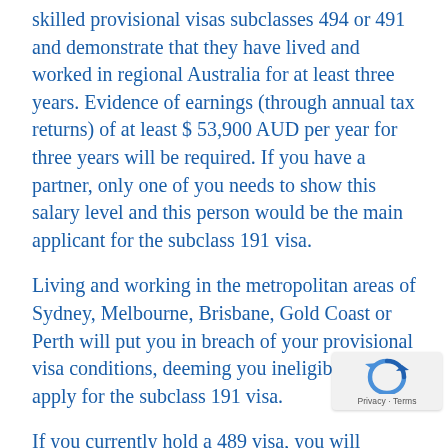skilled provisional visas subclasses 494 or 491 and demonstrate that they have lived and worked in regional Australia for at least three years. Evidence of earnings (through annual tax returns) of at least $ 53,900 AUD per year for three years will be required. If you have a partner, only one of you needs to show this salary level and this person would be the main applicant for the subclass 191 visa.
Living and working in the metropolitan areas of Sydney, Melbourne, Brisbane, Gold Coast or Perth will put you in breach of your provisional visa conditions, deeming you ineligible to apply for the subclass 191 visa.
If you currently hold a 489 visa, you will